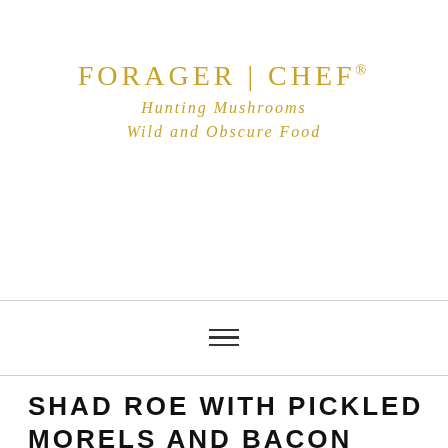[Figure (logo): FORAGER | CHEF® logo with tagline 'Hunting Mushrooms Wild and Obscure Food' in gold serif text]
[Figure (other): Hamburger menu icon (three horizontal lines)]
SHAD ROE WITH PICKLED MORELS AND BACON